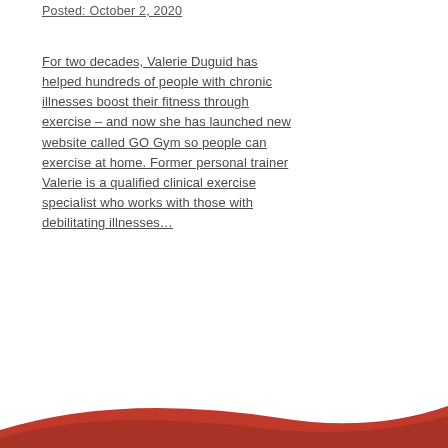Posted: October 2, 2020
For two decades, Valerie Duguid has helped hundreds of people with chronic illnesses boost their fitness through exercise – and now she has launched new website called GO Gym so people can exercise at home. Former personal trainer Valerie is a qualified clinical exercise specialist who works with those with debilitating illnesses…
[Figure (illustration): Red curved swoosh / wave graphic at the bottom of the page]